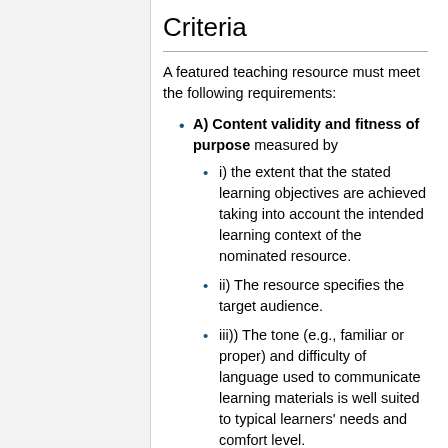Criteria
A featured teaching resource must meet the following requirements:
A) Content validity and fitness of purpose measured by
i) the extent that the stated learning objectives are achieved taking into account the intended learning context of the nominated resource.
ii) The resource specifies the target audience.
iii)) The tone (e.g., familiar or proper) and difficulty of language used to communicate learning materials is well suited to typical learners' needs and comfort level.
iv) The presentation material is written and organized such that